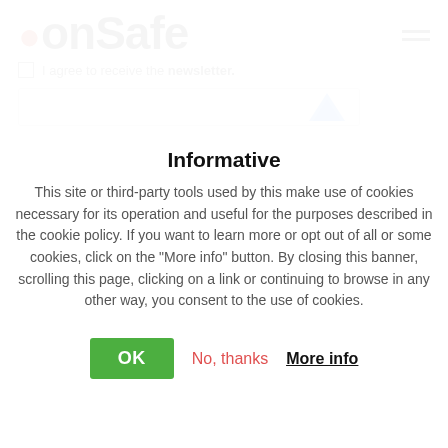[Figure (logo): .onSafe logo with red dot and hamburger menu icon in top right]
I agree to receive the newsletter.
[Figure (screenshot): reCAPTCHA verification box with blue checkmark logo]
Informative
This site or third-party tools used by this make use of cookies necessary for its operation and useful for the purposes described in the cookie policy. If you want to learn more or opt out of all or some cookies, click on the "More info" button. By closing this banner, scrolling this page, clicking on a link or continuing to browse in any other way, you consent to the use of cookies.
OK  No, thanks  More info